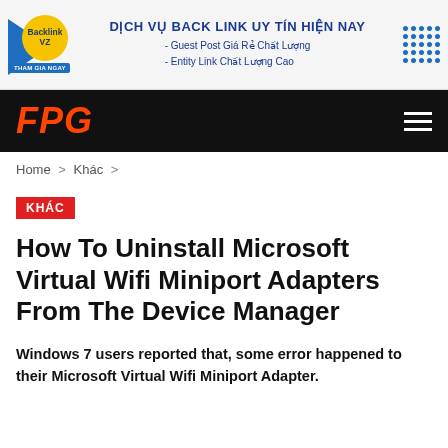[Figure (infographic): Advertisement banner for Backlink VZ service with logo, title 'DỊCH VỤ BACK LINK UY TÍN HIỆN NAY' and bullet points about Guest Post and Entity Link services.]
[Figure (logo): FPG website logo in red italic text on black navigation bar with hamburger menu icon on the right.]
Home > Khác >
KHÁC
How To Uninstall Microsoft Virtual Wifi Miniport Adapters From The Device Manager
Windows 7 users reported that, some error happened to their Microsoft Virtual Wifi Miniport Adapter.